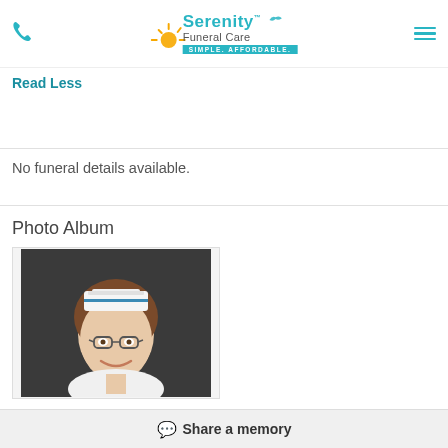Serenity Funeral Care - SIMPLE. AFFORDABLE.
Read Less
No funeral details available.
Photo Album
[Figure (photo): Portrait photo of a young woman wearing glasses and a white nurse cap, smiling, against a dark background]
Share a memory